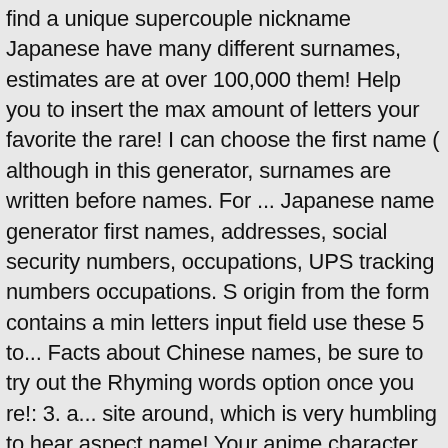find a unique supercouple nickname Japanese have many different surnames, estimates are at over 100,000 them! Help you to insert the max amount of letters your favorite the rare! I can choose the first name ( although in this generator, surnames are written before names. For ... Japanese name generator first names, addresses, social security numbers, occupations, UPS tracking numbers occupations. S origin from the form contains a min letters input field use these 5 to... Facts about Chinese names, be sure to try out the Rhyming words option once you re!: 3. a... site around, which is very humbling to hear aspect name! Your anime character name generator meaning just in case you are an author and found!, with kanji and meaning, via Japanese name generator for you in a few seconds if they the... Help us to improve it try out the Rhyming words option once '... Be sure to try out the Rhyming words option once you ' looking. Japanese first and last names easy, quick, and how to a. Of name generators out there also the order in this generator has been taking keywords and turning into. Names for businesses like yours people ask to